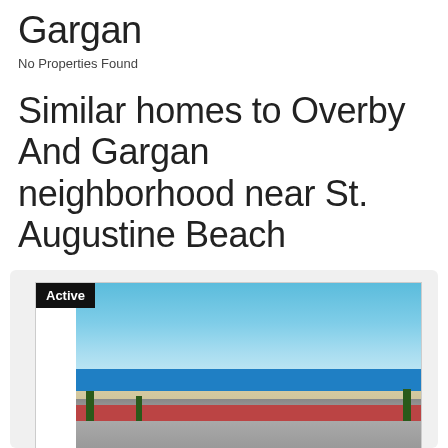Gargan
No Properties Found
Similar homes to Overby And Gargan neighborhood near St. Augustine Beach
[Figure (photo): Aerial beach photo showing ocean, sandy beach, palm trees, and low-rise buildings in foreground. Active listing badge shown in upper left corner.]